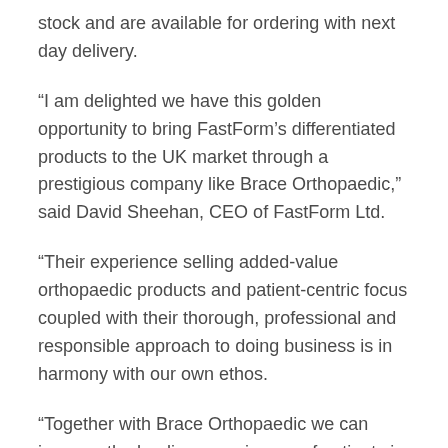stock and are available for ordering with next day delivery.
“I am delighted we have this golden opportunity to bring FastForm’s differentiated products to the UK market through a prestigious company like Brace Orthopaedic,” said David Sheehan, CEO of FastForm Ltd.
“Their experience selling added-value orthopaedic products and patient-centric focus coupled with their thorough, professional and responsible approach to doing business is in harmony with our own ethos.
“Together with Brace Orthopaedic we can improve the healing experiences of patients in the UK, and advance fracture management and soft tissue injury repair to the next level in patient care.”
For more details about the FastForm products and other unique